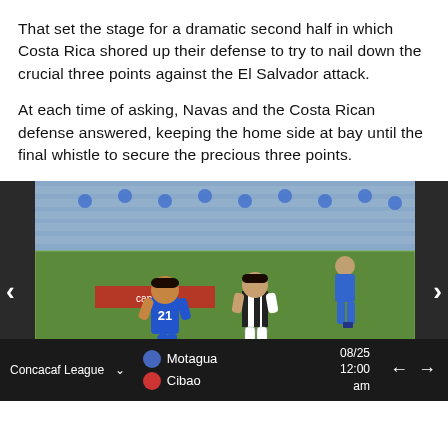That set the stage for a dramatic second half in which Costa Rica shored up their defense to try to nail down the crucial three points against the El Salvador attack.
At each time of asking, Navas and the Costa Rican defense answered, keeping the home side at bay until the final whistle to secure the precious three points.
[Figure (photo): Soccer match photo showing two players competing for the ball — one in blue kit (number 21) and one in black-and-white striped kit — on a football pitch with stadium seating visible in the background. Navigation arrows on left and right sides of image.]
Concacaf League  Motagua vs Cibao  08/25 12:00 am